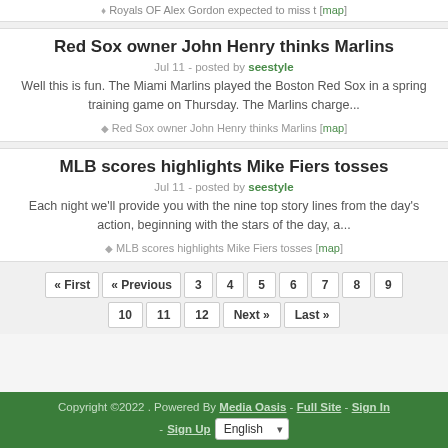Royals OF Alex Gordon expected to miss t [map]
Red Sox owner John Henry thinks Marlins
Jul 11 - posted by seestyle
Well this is fun. The Miami Marlins played the Boston Red Sox in a spring training game on Thursday. The Marlins charge...
Red Sox owner John Henry thinks Marlins [map]
MLB scores highlights Mike Fiers tosses
Jul 11 - posted by seestyle
Each night we'll provide you with the nine top story lines from the day's action, beginning with the stars of the day, a...
MLB scores highlights Mike Fiers tosses [map]
« First « Previous 3 4 5 6 7 8 9 10 11 12 Next » Last »
Copyright ©2022 . Powered By Media Oasis - Full Site - Sign In - Sign Up  English